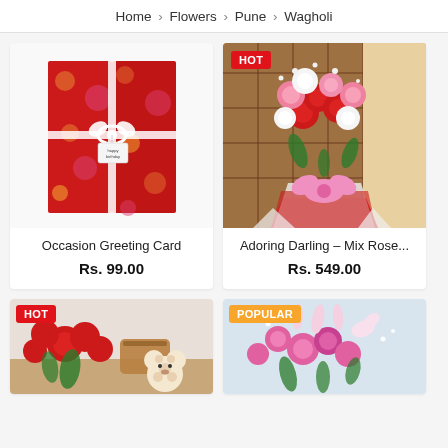Home › Flowers › Pune › Wagholi
[Figure (photo): Occasion Greeting Card - red gift card with polka dots and happy birthday tag]
Occasion Greeting Card
Rs. 99.00
[Figure (photo): Adoring Darling - Mix Rose bouquet with red, pink and white roses wrapped in red and white paper with HOT badge]
Adoring Darling - Mix Rose...
Rs. 549.00
[Figure (photo): Partially visible flower arrangement with red roses and teddy bear, HOT badge]
[Figure (photo): Partially visible pink roses and lily bouquet, POPULAR badge]